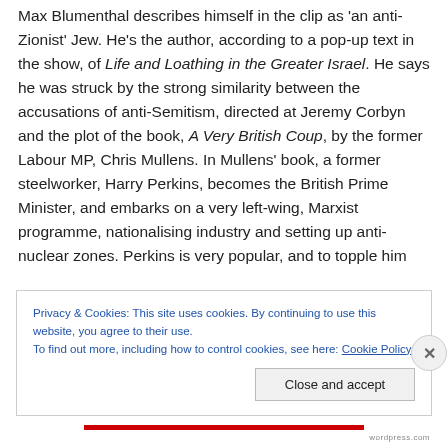Max Blumenthal describes himself in the clip as 'an anti-Zionist' Jew. He's the author, according to a pop-up text in the show, of Life and Loathing in the Greater Israel. He says he was struck by the strong similarity between the accusations of anti-Semitism, directed at Jeremy Corbyn and the plot of the book, A Very British Coup, by the former Labour MP, Chris Mullens. In Mullens' book, a former steelworker, Harry Perkins, becomes the British Prime Minister, and embarks on a very left-wing, Marxist programme, nationalising industry and setting up anti-nuclear zones. Perkins is very popular, and to topple him
Privacy & Cookies: This site uses cookies. By continuing to use this website, you agree to their use.
To find out more, including how to control cookies, see here: Cookie Policy